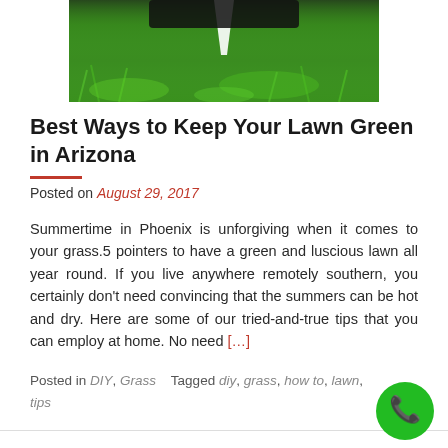[Figure (photo): A lawn mower on green grass, close-up photo showing bright green grass blades]
Best Ways to Keep Your Lawn Green in Arizona
Posted on August 29, 2017
Summertime in Phoenix is unforgiving when it comes to your grass.5 pointers to have a green and luscious lawn all year round. If you live anywhere remotely southern, you certainly don't need convincing that the summers can be hot and dry. Here are some of our tried-and-true tips that you can employ at home. No need [...]
Posted in DIY, Grass     Tagged diy, grass, how to, lawn, tips